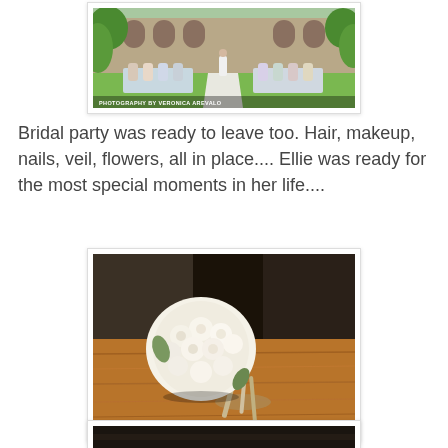[Figure (photo): Outdoor wedding ceremony at a historic stone building with greenery, guests seated in white chairs on both sides of an aisle, with text overlay 'PHOTOGRAPHY BY VERONICA AREVALO']
Bridal party was ready to leave too. Hair, makeup, nails, veil, flowers, all in place.... Ellie was ready for the most special moments in her life....
[Figure (photo): White bridal bouquet of roses and flowers resting on a wooden round table, dark background]
[Figure (photo): Partial view of another photo at the bottom of the page, very dark tones]